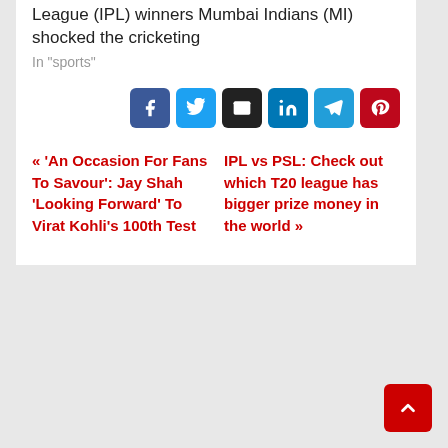League (IPL) winners Mumbai Indians (MI) shocked the cricketing
In "sports"
[Figure (other): Social share buttons: Facebook, Twitter, Email, LinkedIn, Telegram, Pinterest]
« 'An Occasion For Fans To Savour': Jay Shah 'Looking Forward' To Virat Kohli's 100th Test
IPL vs PSL: Check out which T20 league has bigger prize money in the world »